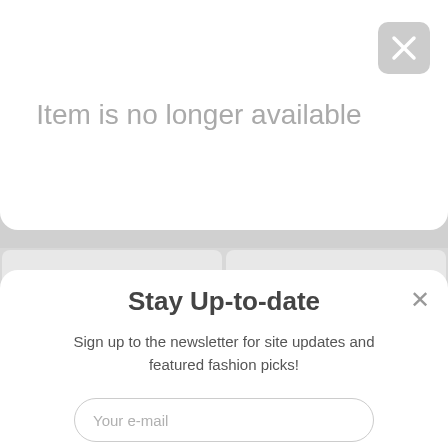Item is no longer available
SHEIN Short Sleeve
$ 10.30
Journey Infinity 78 Rock
$ 10.00
[Figure (photo): Red zip-up jacket with yellow tag on wooden background]
[Figure (photo): Orange long-sleeve top with black collar trim against coral background]
Stay Up-to-date
Sign up to the newsletter for site updates and featured fashion picks!
Your e-mail
Subscribe